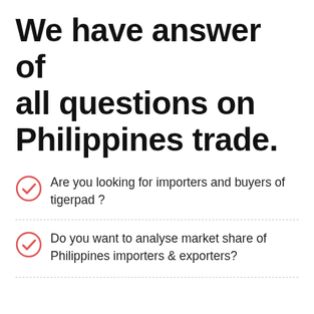We have answer of all questions on Philippines trade.
Are you looking for importers and buyers of tigerpad ?
Do you want to analyse market share of Philippines importers & exporters?